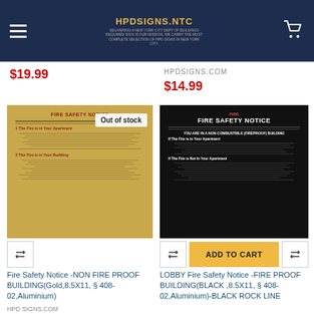HPDSIGNS.NTC
$19.99
HPDSIGNS.COM
$14.99
[Figure (photo): Gold aluminium fire safety notice sign for non-fireproof building with red text on gold background. Out of stock badge visible.]
[Figure (photo): Black aluminium fire safety notice sign for fire proof building with white text on black background. Add to Cart button visible below.]
Fire Safety Notice -NON FIRE PROOF BUILDING(Gold,8.5X11, § 408-02,Aluminium)
LOBBY Fire Safety Notice -FIRE PROOF BUILDING(BLACK ,8.5X11, § 408-02,Aluminium)-BLACK ROCK LINE
HPD SIGNS.COM